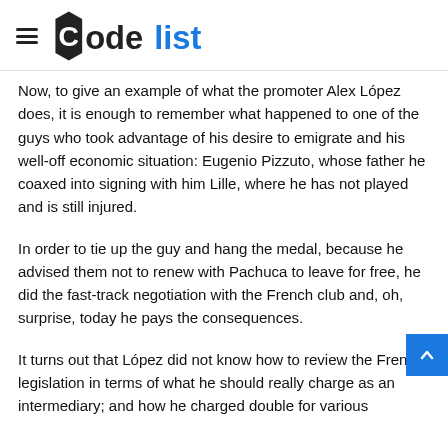Codelist
Now, to give an example of what the promoter Alex López does, it is enough to remember what happened to one of the guys who took advantage of his desire to emigrate and his well-off economic situation: Eugenio Pizzuto, whose father he coaxed into signing with him Lille, where he has not played and is still injured.
In order to tie up the guy and hang the medal, because he advised them not to renew with Pachuca to leave for free, he did the fast-track negotiation with the French club and, oh, surprise, today he pays the consequences.
It turns out that López did not know how to review the French legislation in terms of what he should really charge as an intermediary; and how he charged double for various